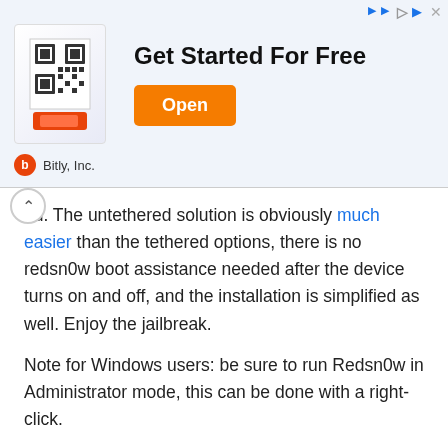[Figure (screenshot): Advertisement banner for Bitly Inc. showing a mobile app QR code image, headline 'Get Started For Free', an orange 'Open' button, and a footer with Bitly logo and name.]
ed. The untethered solution is obviously much easier than the tethered options, there is no redsn0w boot assistance needed after the device turns on and off, and the installation is simplified as well. Enjoy the jailbreak.
Note for Windows users: be sure to run Redsn0w in Administrator mode, this can be done with a right-click.
Already jailbroken? Here is how to convert a tethered iOS 5.0.1 jailbreak into untethered with Corona, it's very easy and doesn't require redsn0w.
[Figure (screenshot): Social sharing buttons: blue Tweet button and a More button with share icon.]